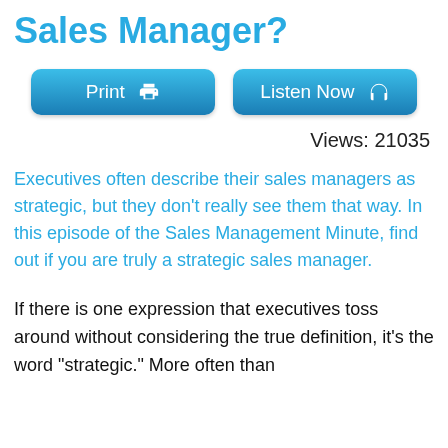Sales Manager?
[Figure (screenshot): Print button with printer icon and Listen Now button with headphone icon]
Views: 21035
Executives often describe their sales managers as strategic, but they don’t really see them that way. In this episode of the Sales Management Minute, find out if you are truly a strategic sales manager.
If there is one expression that executives toss around without considering the true definition, it’s the word “strategic.” More often than